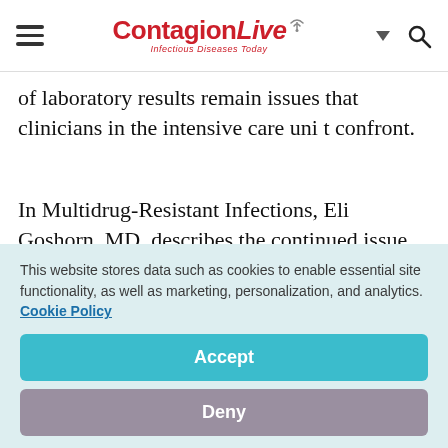ContagionLive — Infectious Diseases Today
of laboratory results remain issues that clinicians in the intensive care uni t confront.
In Multidrug-Resistant Infections, Eli Goshorn, MD, describes the continued issue of multidrug-resistant organisms in patients with COVID-19 and the often-contrary literature around the topic.
This website stores data such as cookies to enable essential site functionality, as well as marketing, personalization, and analytics. Cookie Policy
Accept
Deny